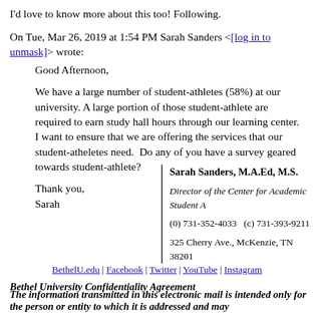I'd love to know more about this too! Following.
On Tue, Mar 26, 2019 at 1:54 PM Sarah Sanders <[log in to unmask]> wrote:
Good Afternoon,

We have a large number of student-athletes (58%) at our university. A large portion of those student-athlete are required to earn study hall hours through our learning center. I want to ensure that we are offering the services that our student-atheletes need.  Do any of you have a survey geared towards student-athlete?

Thank you,
Sarah
Sarah Sanders, M.A.Ed, M.S.

Director of the Center for Academic Student A

(0) 731-352-4033   (c) 731-393-9211

325 Cherry Ave., McKenzie, TN 38201
BethelU.edu | Facebook | Twitter | YouTube | Instagram
Bethel University Confidentiality Agreement
The information transmitted in this electronic mail is intended only for the person or entity to which it is addressed and may